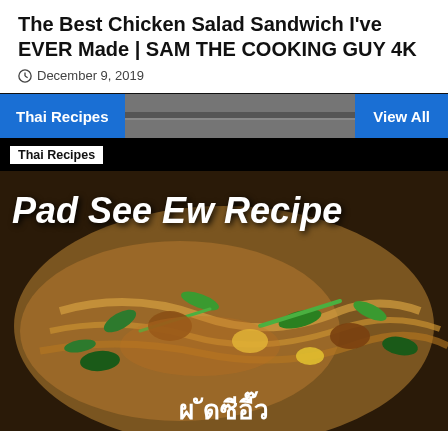The Best Chicken Salad Sandwich I've EVER Made | SAM THE COOKING GUY 4K
December 9, 2019
Thai Recipes
View All
[Figure (photo): A food photo showing Pad See Ew Recipe — a Thai stir-fried noodle dish with vegetables, egg, and sauce, with Thai script text overlay at the bottom. Category tag 'Thai Recipes' shown at top.]